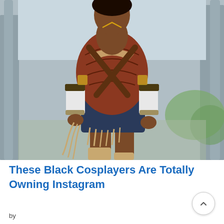[Figure (photo): A cosplayer dressed as Wonder Woman in a detailed armored costume with brown leather straps crossing the chest, a gold tiara, gauntlets, and a blue skirt with a gold belt buckle styled as the Wonder Woman logo. The person is walking toward the camera against a blurred outdoor background with bare trees and green foliage.]
These Black Cosplayers Are Totally Owning Instagram
by